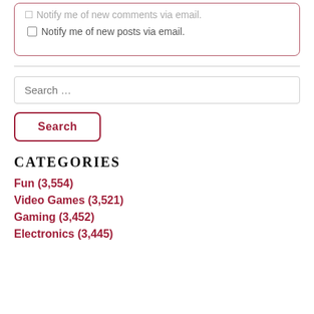Notify me of new posts via email.
Search ...
Search
Categories
Fun (3,554)
Video Games (3,521)
Gaming (3,452)
Electronics (3,445)